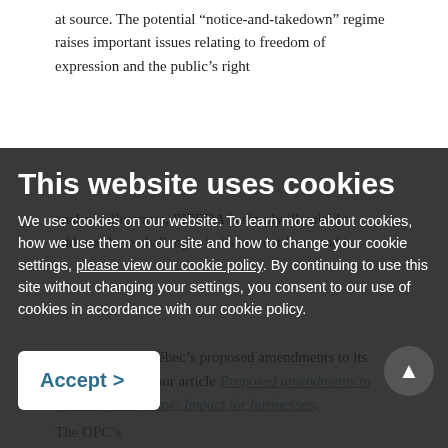at source. The potential “notice-and-takedown” regime raises important issues relating to freedom of expression and the public’s right
analysis illustrates, PIPEDA is simply ill-suited to address these challenges in its current form and is
This website uses cookies
We use cookies on our website. To learn more about cookies, how we use them on our site and how to change your cookie settings, please view our cookie policy. By continuing to use this site without changing your settings, you consent to our use of cookies in accordance with our cookie policy.
discussion on Quebec’s proposed amendments to its privacy law, see our article Proposed amendments to Québec privacy law: Impact for businesses.
Accept
The OPC’s...